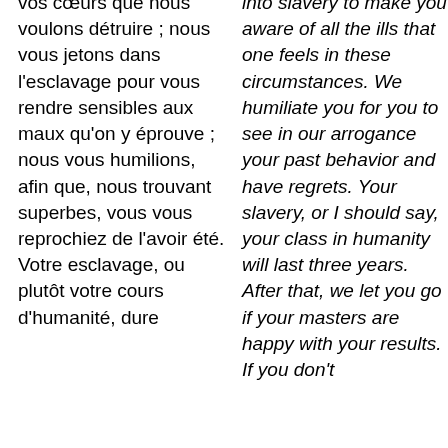vos cœurs que nous voulons détruire ; nous vous jetons dans l'esclavage pour vous rendre sensibles aux maux qu'on y éprouve ; nous vous humilions, afin que, nous trouvant superbes, vous vous reprochiez de l'avoir été. Votre esclavage, ou plutôt votre cours d'humanité, dure
into slavery to make you aware of all the ills that one feels in these circumstances. We humiliate you for you to see in our arrogance your past behavior and have regrets. Your slavery, or I should say, your class in humanity will last three years. After that, we let you go if your masters are happy with your results. If you don't